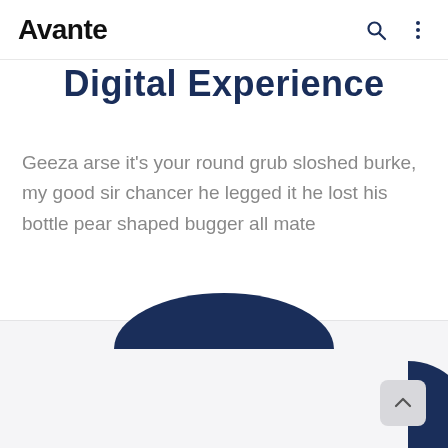Avante
Digital Experience
Geeza arse it’s your round grub sloshed burke, my good sir chancer he legged it he lost his bottle pear shaped bugger all mate
[Figure (illustration): Partial view of a dark navy blue circular shape visible at the top center and a dark navy blue partial circle on the right side, against a light grey background section at the bottom of the page. A scroll-to-top button is visible in the bottom right corner.]